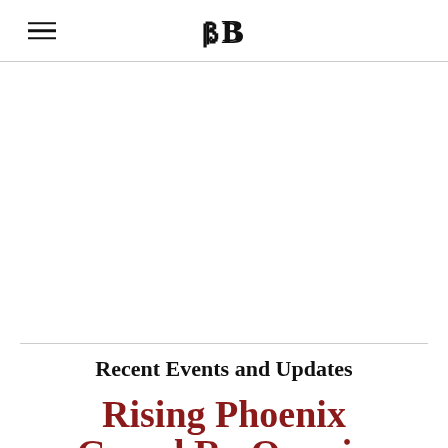BB
Recent Events and Updates
Rising Phoenix Grand Re-Opening